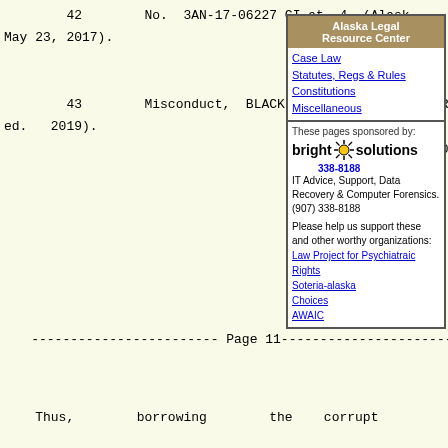42        No.  3AN-17-06227 CI at 4 (Alask
May 23, 2017).
[Figure (screenshot): Alaska Legal Resource Center sidebar with navigation links (Case Law, Statutes Regs & Rules, Constitutions, Miscellaneous) and Bright Solutions sponsor advertisement with IT services info and charity links]
43        Misconduct, BLACK LAW DICTIONARY
ed.  2019).
------------------------ Page 11------------------------
Thus,        borrowing        the    corrupt